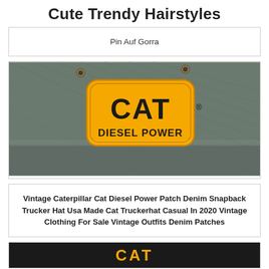Cute Trendy Hairstyles
Pin Auf Gorra
[Figure (photo): Close-up photo of a vintage dark denim CAT Diesel Power snapback trucker hat with yellow embroidered patch showing 'CAT DIESEL POWER' logo]
Vintage Caterpillar Cat Diesel Power Patch Denim Snapback Trucker Hat Usa Made Cat Truckerhat Casual In 2020 Vintage Clothing For Sale Vintage Outfits Denim Patches
[Figure (photo): Bottom portion of another CAT branded hat with yellow text on dark background]